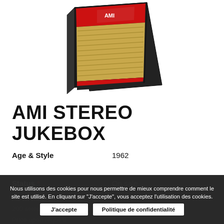[Figure (photo): Photo of an AMI Stereo Jukebox from 1962, showing a vintage jukebox with a red top panel and gold/tan speaker grille, viewed at an angle from above.]
AMI STEREO JUKEBOX
Age & Style     1962
Status *     On sale
Rare Ami stereo jukebox, 1962.
200 selections, entirely restored.
Price upon request
Nous utilisons des cookies pour nous permettre de mieux comprendre comment le site est utilisé. En cliquant sur "J'accepte", vous acceptez l'utilisation des cookies.
J'accepte
Politique de confidentialité